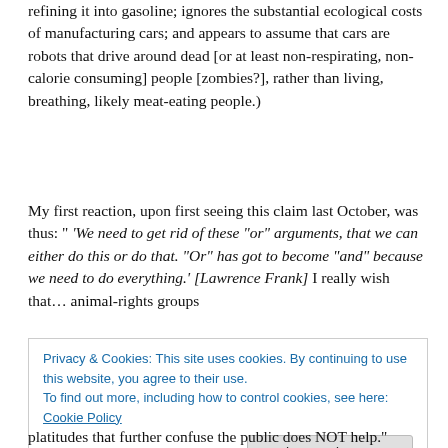refining it into gasoline; ignores the substantial ecological costs of manufacturing cars; and appears to assume that cars are robots that drive around dead [or at least non-respirating, non-calorie consuming] people [zombies?], rather than living, breathing, likely meat-eating people.)
My first reaction, upon first seeing this claim last October, was thus: " ‘We need to get rid of these “or” arguments, that we can either do this or do that. “Or” has got to become “and” because we need to do everything.’ [Lawrence Frank] I really wish that… animal-rights groups
Privacy & Cookies: This site uses cookies. By continuing to use this website, you agree to their use.
To find out more, including how to control cookies, see here: Cookie Policy
platitudes that further confuse the public does NOT help."